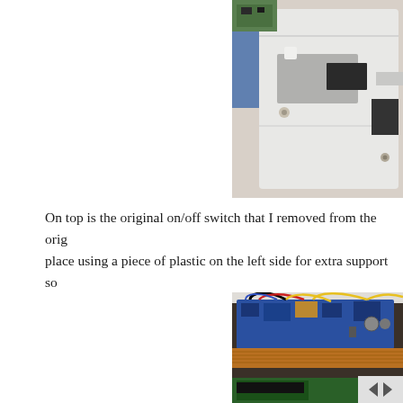[Figure (photo): Photo of the interior of a white plastic device enclosure showing a circuit board component and plastic housing details, being held by a person in a blue shirt.]
On top is the original on/off switch that I removed from the orig place using a piece of plastic on the left side for extra support so
[Figure (photo): Photo of an open electronic device showing a circuit board (blue PCB) with multiple colored wires (black, red, yellow, blue, white) connected, along with ribbon cables and other electronic components inside a white plastic enclosure.]